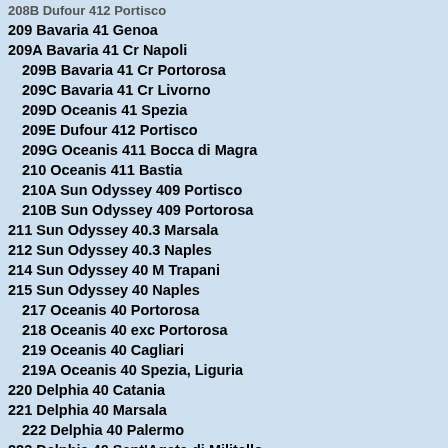209 Bavaria 41 Genoa
209A Bavaria 41 Cr Napoli
209B Bavaria 41 Cr Portorosa
209C Bavaria 41 Cr Livorno
209D Oceanis 41 Spezia
209E Dufour 412 Portisco
209G Oceanis 411 Bocca di Magra
210 Oceanis 411 Bastia
210A Sun Odyssey 409 Portisco
210B Sun Odyssey 409 Portorosa
211 Sun Odyssey 40.3 Marsala
212 Sun Odyssey 40.3 Naples
214 Sun Odyssey 40 M Trapani
215 Sun Odyssey 40 Naples
217 Oceanis 40 Portorosa
218 Oceanis 40 exc Portorosa
219 Oceanis 40 Cagliari
219A Oceanis 40 Spezia, Liguria
220 Delphia 40 Catania
221 Delphia 40 Marsala
222 Delphia 40 Palermo
223 Delphia 40 Sant'Agata di Militello
224 Delphia 40 Sant'Agata di Militello
225 Delphia 40 3c Trapani
226 Delphia 40 Fezzano
227 Bavaria 40 Cr Salerno
228 Bavaria 40 Cr Palermo
230 Bavaria 40 Cr Olbia
231 Bavaria 40 Cr Cagliari